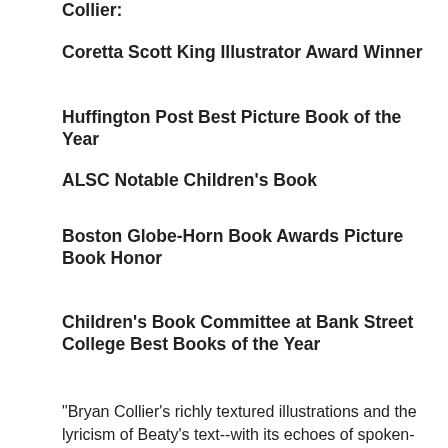Collier:
Coretta Scott King Illustrator Award Winner
Huffington Post Best Picture Book of the Year
ALSC Notable Children's Book
Boston Globe-Horn Book Awards Picture Book Honor
Children's Book Committee at Bank Street College Best Books of the Year
"Bryan Collier's richly textured illustrations and the lyricism of Beaty's text--with its echoes of spoken-word poetry--make this story of bereavement also a story of possibility and beauty." -- The New York Times Sunday Book Review
Praise for Martin's Big Words, illustrated by Bryan Collier: